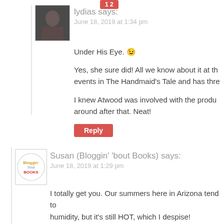[Figure (photo): Avatar photo of user lydias - a person holding a cup]
lydias says:
June 18, 2019 at 1:34 pm
Under His Eye. 😉
Yes, she sure did! All we know about it at th... events in The Handmaid's Tale and has thre...
I knew Atwood was involved with the produ... around after that. Neat!
Reply
[Figure (logo): Susan Bloggin bout Books circular logo]
Susan (Bloggin' 'bout Books) says:
June 18, 2019 at 1:29 pm
I totally get you. Our summers here in Arizona tend to... humidity, but it's still HOT, which I despise!
I was actually really disappointed in Kibler's newest. I... really flat for me. Bummer. I hope you enjoy it, thoug...
Happy TTT!